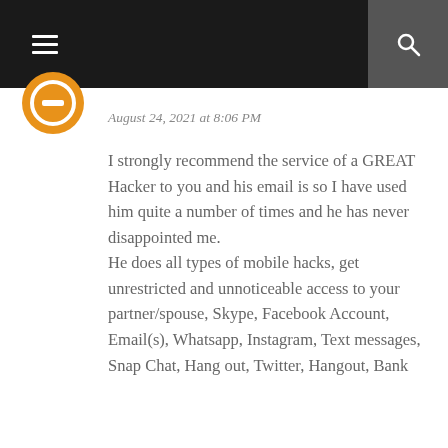Navigation bar with menu and search icons
August 24, 2021 at 8:06 PM
I strongly recommend the service of a GREAT Hacker to you and his email is so I have used him quite a number of times and he has never disappointed me. He does all types of mobile hacks, get unrestricted and unnoticeable access to your partner/spouse, Skype, Facebook Account, Email(s), Whatsapp, Instagram, Text messages, Snap Chat, Hang out, Twitter, Hangout, Bank